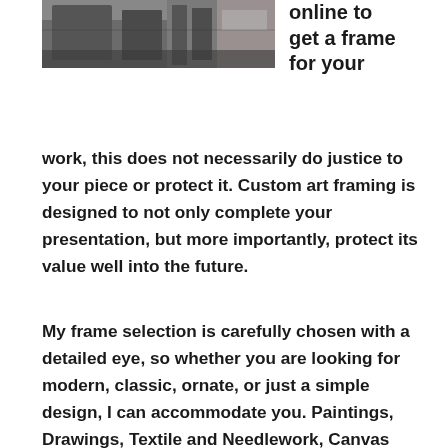[Figure (photo): Photo of a framing workshop or store interior showing frames and equipment on shelves, partially visible at top left of page.]
online to get a frame for your work, this does not necessarily do justice to your piece or protect it. Custom art framing is designed to not only complete your presentation, but more importantly, protect its value well into the future.
My frame selection is carefully chosen with a detailed eye, so whether you are looking for modern, classic, ornate, or just a simple design, I can accommodate you. Paintings, Drawings, Textile and Needlework, Canvas Stretching, Shadowboxing, Diplomas, Children's Art, Letters of Achievement and anything else that can be captured and defined, I will give my personal attention frame to serving your needs and discerning eye.